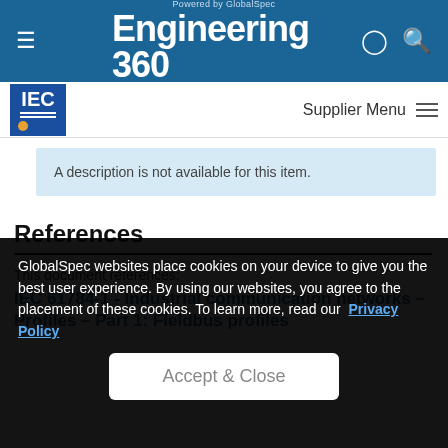Engineering 360 — Powered by GlobalSpec
[Figure (logo): IEC logo — blue square with IEC text in white]
Supplier Menu
A description is not available for this item.
References
This document references:
IEC 61784-1 - Industrial communication networks – Profiles – Part 1: Fieldbus profiles
GlobalSpec websites place cookies on your device to give you the best user experience. By using our websites, you agree to the placement of these cookies. To learn more, read our Privacy Policy
Accept & Close